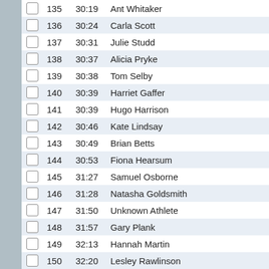|  | Pos | Time | Name |
| --- | --- | --- | --- |
|  | 135 | 30:19 | Ant Whitaker |
|  | 136 | 30:24 | Carla Scott |
|  | 137 | 30:31 | Julie Studd |
|  | 138 | 30:37 | Alicia Pryke |
|  | 139 | 30:38 | Tom Selby |
|  | 140 | 30:39 | Harriet Gaffer |
|  | 141 | 30:39 | Hugo Harrison |
|  | 142 | 30:46 | Kate Lindsay |
|  | 143 | 30:49 | Brian Betts |
|  | 144 | 30:53 | Fiona Hearsum |
|  | 145 | 31:27 | Samuel Osborne |
|  | 146 | 31:28 | Natasha Goldsmith |
|  | 147 | 31:50 | Unknown Athlete |
|  | 148 | 31:57 | Gary Plank |
|  | 149 | 32:13 | Hannah Martin |
|  | 150 | 32:20 | Lesley Rawlinson |
|  | 151 | 32:46 | Debbie Crick |
|  | 152 | 32:49 | Julie Hill |
|  | 153 | 32:55 | Beth Willis-Betts |
|  | 154 | 32:58 | Mark Goldsmith |